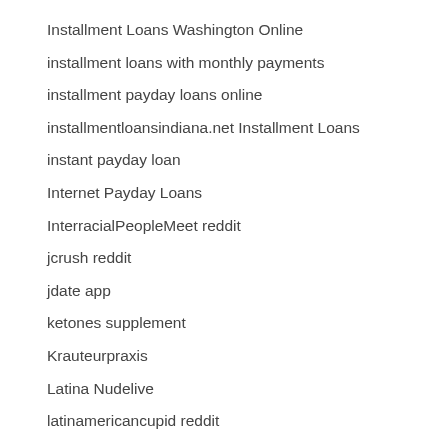Installment Loans Washington Online
installment loans with monthly payments
installment payday loans online
installmentloansindiana.net Installment Loans
instant payday loan
Internet Payday Loans
InterracialPeopleMeet reddit
jcrush reddit
jdate app
ketones supplement
Krauteurpraxis
Latina Nudelive
latinamericancupid reddit
latinomeetup reviews
legit online payday loans